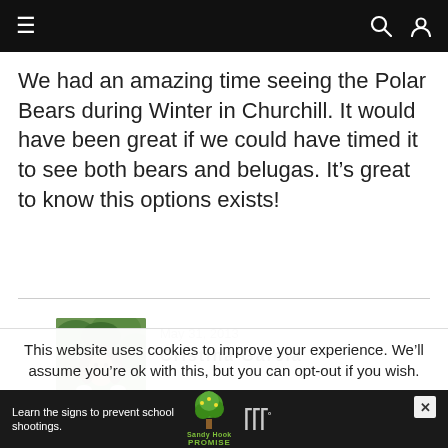Navigation bar with hamburger menu, search, and user icons
We had an amazing time seeing the Polar Bears during Winter in Churchill. It would have been great if we could have timed it to see both bears and belugas. It’s great to know this options exists!
May 31, 2013
Cristina Garcia
[Figure (photo): Author photo of Cristina Garcia, a woman with brown hair wearing a white top, outdoors with green foliage in background]
This website uses cookies to improve your experience. We’ll assume you’re ok with this, but you can opt-out if you wish.
Learn the signs to prevent school shootings. Sandy Hook Promise advertisement